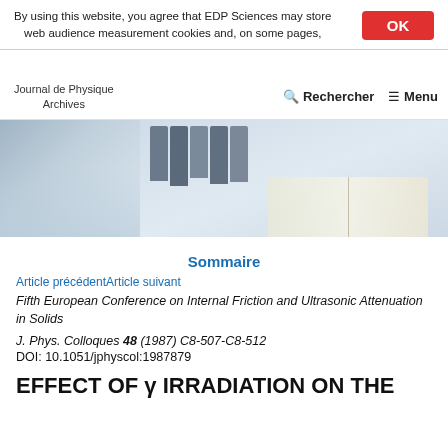By using this website, you agree that EDP Sciences may store web audience measurement cookies and, on some pages,
Journal de Physique Archives | Rechercher | Menu
[Figure (photo): Header banner photo showing a person on the left side and library books with open pages on the right, in blue-grey tones.]
Sommaire
Article précédentArticle suivant
Fifth European Conference on Internal Friction and Ultrasonic Attenuation in Solids
J. Phys. Colloques 48 (1987) C8-507-C8-512
DOI: 10.1051/jphyscol:1987879
EFFECT OF γ IRRADIATION ON THE